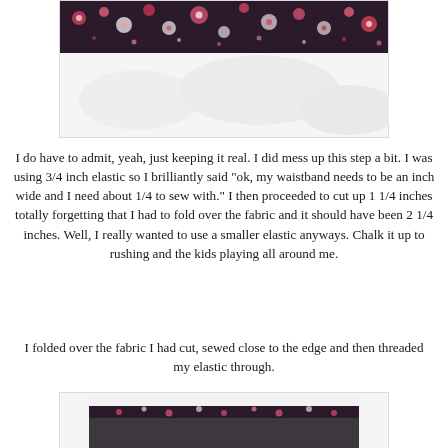[Figure (photo): Close-up photo of dark floral fabric waistband with pink and white flower pattern on white fluffy surface]
I do have to admit, yeah, just keeping it real. I did mess up this step a bit. I was using 3/4 inch elastic so I brilliantly said "ok, my waistband needs to be an inch wide and I need about 1/4 to sew with." I then proceeded to cut up 1 1/4 inches totally forgetting that I had to fold over the fabric and it should have been 2 1/4 inches. Well, I really wanted to use a smaller elastic anyways. Chalk it up to rushing and the kids playing all around me.
I folded over the fabric I had cut, sewed close to the edge and then threaded my elastic through.
[Figure (photo): Photo of a completed skirt with dark floral waistband and dark mesh/tulle skirt fabric, laid flat]